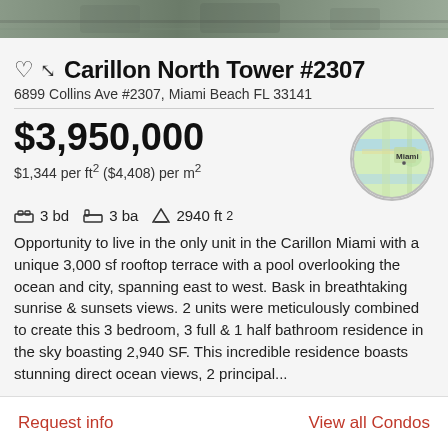[Figure (photo): Aerial/outdoor photo strip at top of page]
Carillon North Tower #2307
6899 Collins Ave #2307, Miami Beach FL 33141
$3,950,000
$1,344 per ft² ($4,408) per m²
3 bd   3 ba   2940 ft²
Opportunity to live in the only unit in the Carillon Miami with a unique 3,000 sf rooftop terrace with a pool overlooking the ocean and city, spanning east to west. Bask in breathtaking sunrise & sunsets views. 2 units were meticulously combined to create this 3 bedroom, 3 full & 1 half bathroom residence in the sky boasting 2,940 SF. This incredible residence boasts stunning direct ocean views, 2 principal...
[Figure (map): Circular map thumbnail showing Miami Beach area]
Request info
View all Condos